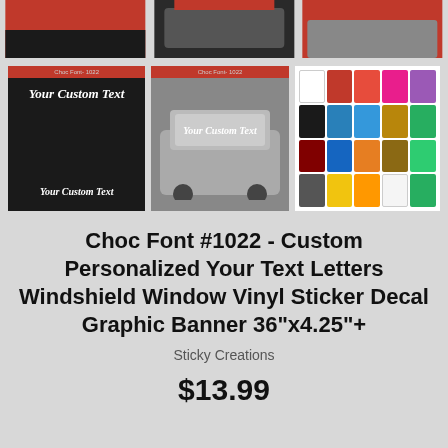[Figure (photo): Top row of three partially cropped product images showing car windshield vinyl sticker decals]
[Figure (photo): Second row: left image shows black background with white cursive 'Your Custom Text' sticker preview (Choc Font #1022), center image shows rear car windshield with white cursive sticker, right image shows color swatch grid of available vinyl colors]
Choc Font #1022 - Custom Personalized Your Text Letters Windshield Window Vinyl Sticker Decal Graphic Banner 36"x4.25"+
Sticky Creations
$13.99